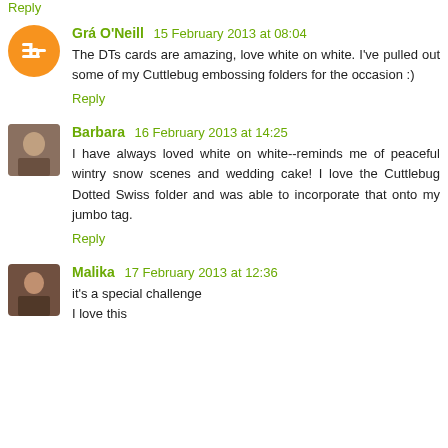Reply
Grá O'Neill 15 February 2013 at 08:04
The DTs cards are amazing, love white on white. I've pulled out some of my Cuttlebug embossing folders for the occasion :)
Reply
Barbara 16 February 2013 at 14:25
I have always loved white on white--reminds me of peaceful wintry snow scenes and wedding cake! I love the Cuttlebug Dotted Swiss folder and was able to incorporate that onto my jumbo tag.
Reply
Malika 17 February 2013 at 12:36
it's a special challenge
I love this